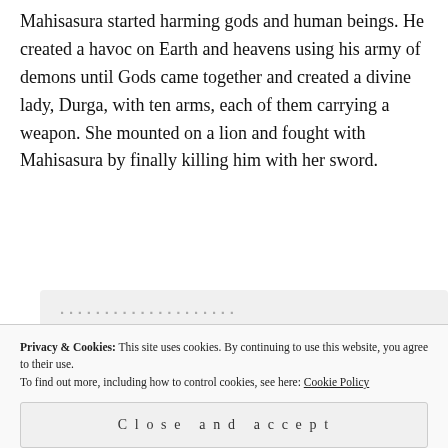Mahisasura started harming gods and human beings. He created a havoc on Earth and heavens using his army of demons until Gods came together and created a divine lady, Durga, with ten arms, each of them carrying a weapon. She mounted on a lion and fought with Mahisasura by finally killing him with her sword.
[Figure (screenshot): Partial screenshot of an advertisement or promotional banner showing bold text 'the same page is easy. And free.' with three circular profile photo avatars and a blue circle with a plus sign, on a light grey background.]
Privacy & Cookies: This site uses cookies. By continuing to use this website, you agree to their use.
To find out more, including how to control cookies, see here: Cookie Policy
Close and accept